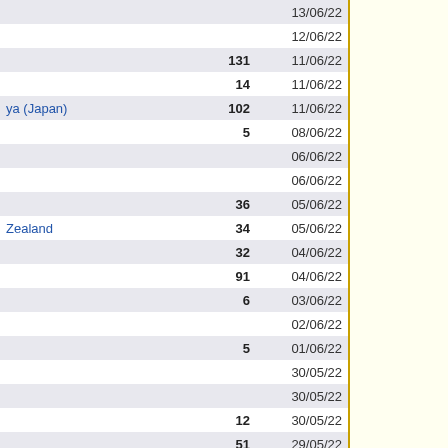| Name | Count | Date |
| --- | --- | --- |
|  |  | 13/06/22 |
|  |  | 12/06/22 |
|  | 131 | 11/06/22 |
|  | 14 | 11/06/22 |
| ya (Japan) | 102 | 11/06/22 |
|  | 5 | 08/06/22 |
|  |  | 06/06/22 |
|  |  | 06/06/22 |
|  | 36 | 05/06/22 |
| Zealand | 34 | 05/06/22 |
|  | 32 | 04/06/22 |
|  | 91 | 04/06/22 |
|  | 6 | 03/06/22 |
|  |  | 02/06/22 |
|  | 5 | 01/06/22 |
|  |  | 30/05/22 |
|  |  | 30/05/22 |
|  | 12 | 30/05/22 |
|  | 51 | 29/05/22 |